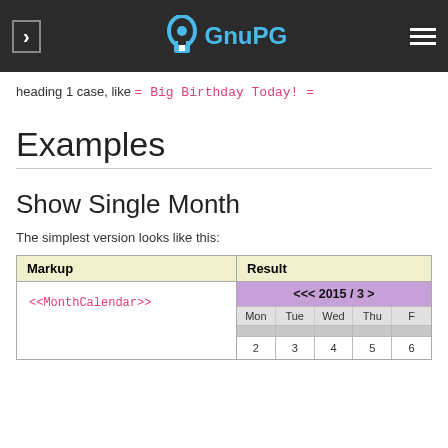GnuPG navigation bar
heading 1 case, like = Big Birthday Today! =
Examples
Show Single Month
The simplest version looks like this:
| Markup | Result |
| --- | --- |
| <<MonthCalendar>> | [calendar: <<< 2015 / 3 > with Mon Tue Wed Thu F... rows showing 2 3 4 5 6...] |